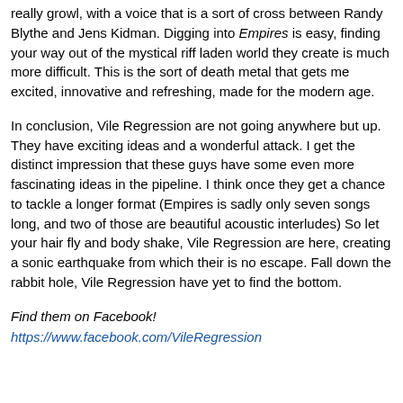really growl, with a voice that is a sort of cross between Randy Blythe and Jens Kidman. Digging into Empires is easy, finding your way out of the mystical riff laden world they create is much more difficult. This is the sort of death metal that gets me excited, innovative and refreshing, made for the modern age.
In conclusion, Vile Regression are not going anywhere but up. They have exciting ideas and a wonderful attack. I get the distinct impression that these guys have some even more fascinating ideas in the pipeline. I think once they get a chance to tackle a longer format (Empires is sadly only seven songs long, and two of those are beautiful acoustic interludes) So let your hair fly and body shake, Vile Regression are here, creating a sonic earthquake from which their is no escape. Fall down the rabbit hole, Vile Regression have yet to find the bottom.
Find them on Facebook!
https://www.facebook.com/VileRegression